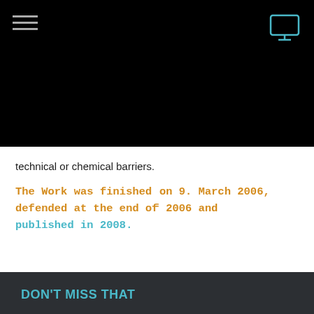[Figure (other): Black navigation header bar with hamburger menu icon on the left and monitor/desktop icon on the right in cyan]
technical or chemical barriers.
The Work was finished on 9. March 2006, defended at the end of 2006 and published in 2008.
DON'T MISS THAT
Publications
Redox Probes